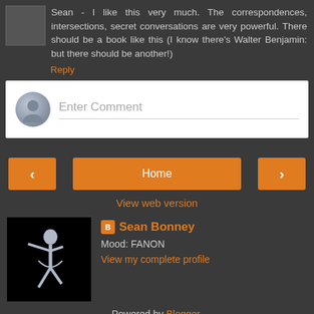Sean - I like this very much. The correspondences, intersections, secret conversations are very powerful. There should be a book like this (I know there's Walter Benjamin: but there should be another!)
Reply
[Figure (screenshot): Enter Comment input box with user avatar placeholder]
[Figure (screenshot): Navigation buttons: left arrow, Home, right arrow]
View web version
[Figure (photo): Profile photo of Sean Bonney - ballet dancer silhouette on dark background]
Sean Bonney
Mood: FANON
View my complete profile
Powered by Blogger.